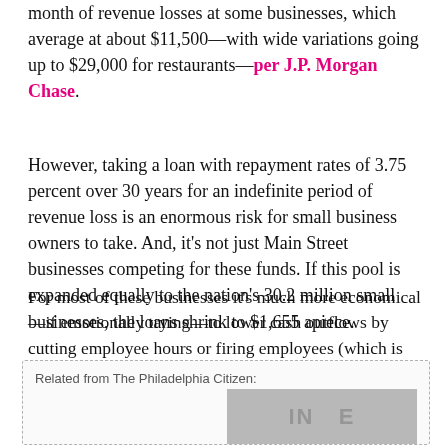month of revenue losses at some businesses, which average at about $11,500—with wide variations going up to $29,000 for restaurants—per J.P. Morgan Chase.
However, taking a loan with repayment rates of 3.75 percent over 30 years for an indefinite period of revenue loss is an enormous risk for small business owners to take. And, it's not just Main Street businesses competing for these funds. If this pool is expanded equally to the nation's 30.2 million small businesses, the loans shrink to $1,655 apiece.
For most of these businesses it's much more economical—if emotionally trying—to lower cash outflows by cutting employee hours or firing employees (which is already happening and overwhelming unemployment offices).
Related from The Philadelphia Citizen: